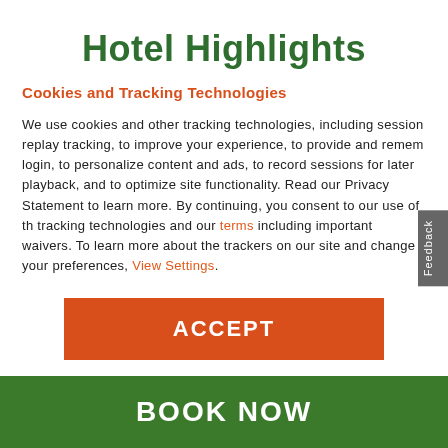Hotel Highlights
Cookies and Tracking Technologies
We use cookies and other tracking technologies, including session replay tracking, to improve your experience, to provide and remember login, to personalize content and ads, to record sessions for later playback, and to optimize site functionality. Read our Privacy Statement to learn more. By continuing, you consent to our use of these tracking technologies and our terms including important waivers. To learn more about the trackers on our site and change your preferences, View Settings.
ACCEPT
BOOK NOW